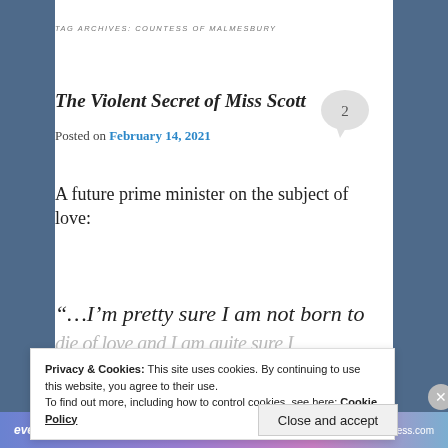TAG ARCHIVES: COUNTESS OF MALMESBURY
The Violent Secret of Miss Scott
Posted on February 14, 2021
A future prime minister on the subject of love:
“…I’m pretty sure I am not born to die of love and I am quite sure I
Privacy & Cookies: This site uses cookies. By continuing to use this website, you agree to their use. To find out more, including how to control cookies, see here: Cookie Policy
Close and accept
everything you need.